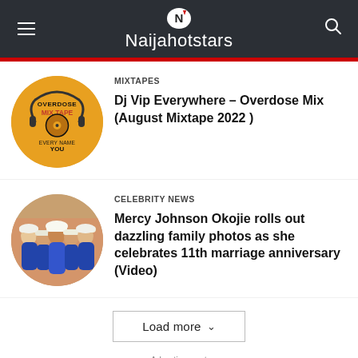Naijahotstars
[Figure (photo): Circular thumbnail of Overdose Mixtape album art - orange background with headphones and text 'OVERDOSE MIXTAPE', 'EVERY NAME YOU']
MIXTAPES
Dj Vip Everywhere – Overdose Mix (August Mixtape 2022 )
[Figure (photo): Circular thumbnail of a family group photo - people wearing blue and white traditional Nigerian attire, women wearing white head wraps]
CELEBRITY NEWS
Mercy Johnson Okojie rolls out dazzling family photos as she celebrates 11th marriage anniversary (Video)
Load more
- Advertisement -